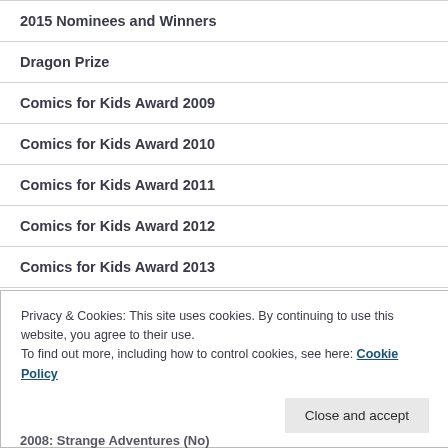2015 Nominees and Winners
Dragon Prize
Comics for Kids Award 2009
Comics for Kids Award 2010
Comics for Kids Award 2011
Comics for Kids Award 2012
Comics for Kids Award 2013
Privacy & Cookies: This site uses cookies. By continuing to use this website, you agree to their use.
To find out more, including how to control cookies, see here: Cookie Policy
Close and accept
2008: Strange Adventures (No)